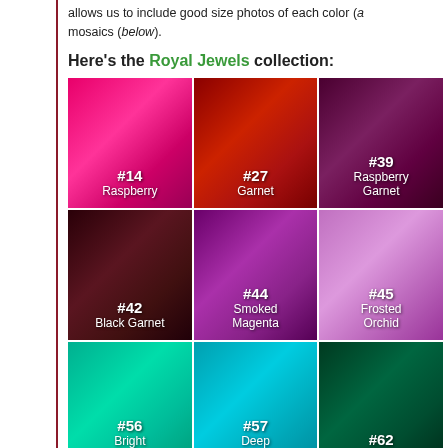allows us to include good size photos of each color (above) and mosaics (below).
Here's the Royal Jewels collection:
[Figure (infographic): 3x3 grid of fabric color swatches for the Royal Jewels collection. Row 1: #14 Raspberry (hot pink), #27 Garnet (deep red), #39 Raspberry Garnet (dark purple). Row 2: #42 Black Garnet (very dark maroon), #44 Smoked Magenta (dark magenta/purple), #45 Frosted Orchid (light lavender/orchid). Row 3 (partial): #56 Bright Aquamarine (bright teal/green), #57 Deep Aquamarine (teal/cyan), #62 Emerald (dark forest green).]